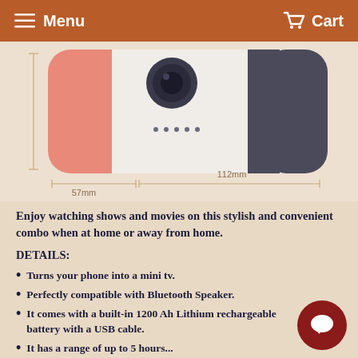Menu  Cart
[Figure (photo): Product image of a mini TV phone holder/projector combo device in pink/white color, showing dimensions: 57mm and 112mm measurement arrows]
Enjoy watching shows and movies on this stylish and convenient combo when at home or away from home.
DETAILS:
Turns your phone into a mini tv.
Perfectly compatible with Bluetooth Speaker.
It comes with a built-in 1200 Ah Lithium rechargeable battery with a USB cable.
It has a range of up to 5 hours...